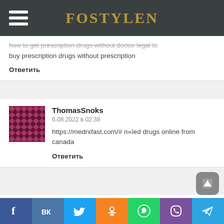FOSTYLEN
how to get prescription drugs without doctor legal to buy prescription drugs without prescription
Ответить
ThomasSnoks
6.08.2022 в 02:38
https://medrxfast.com/# п»їed drugs online from canada
Ответить
[Figure (screenshot): Partial view of next comment with avatar]
[Figure (infographic): Social sharing bar with Facebook, VK, Twitter, Odnoklassniki, WhatsApp, Viber, Telegram icons]